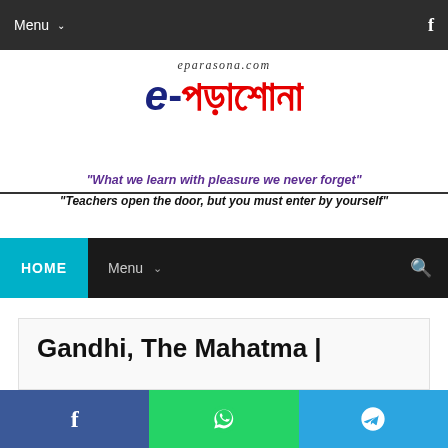Menu  f
[Figure (logo): eparasona.com logo with Bengali text e-পড়াশোনা]
“What we learn with pleasure we never forget”
“Teachers open the door, but you must enter by yourself”
HOME  Menu  🔍
Gandhi, The Mahatma |
f  WhatsApp  Telegram